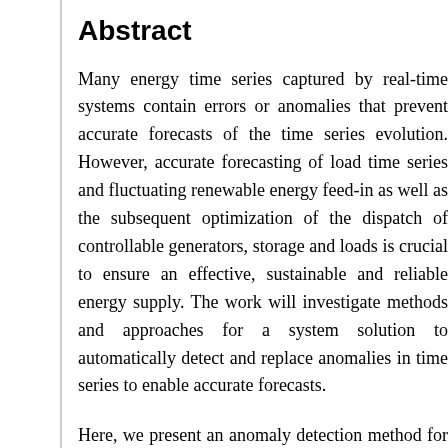Abstract
Many energy time series captured by real-time systems contain errors or anomalies that prevent accurate forecasts of the time series evolution. However, accurate forecasting of load time series and fluctuating renewable energy feed-in as well as the subsequent optimization of the dispatch of controllable generators, storage and loads is crucial to ensure an effective, sustainable and reliable energy supply. The work will investigate methods and approaches for a system solution to automatically detect and replace anomalies in time series to enable accurate forecasts.
Here, we present an anomaly detection method for the energy sector inhibiting a large automization potential due to the need to handle previously unknown data sets, which classical approaches like regression models can hardly provide.
At first, we define anomalies as data, which do not correspond to the normal characteristics of a respective time series. In contrast, errors are parts of time series, which are k